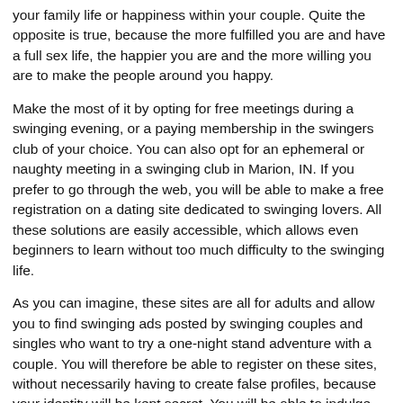your family life or happiness within your couple. Quite the opposite is true, because the more fulfilled you are and have a full sex life, the happier you are and the more willing you are to make the people around you happy.
Make the most of it by opting for free meetings during a swinging evening, or a paying membership in the swingers club of your choice. You can also opt for an ephemeral or naughty meeting in a swinging club in Marion, IN. If you prefer to go through the web, you will be able to make a free registration on a dating site dedicated to swinging lovers. All these solutions are easily accessible, which allows even beginners to learn without too much difficulty to the swinging life.
As you can imagine, these sites are all for adults and allow you to find swinging ads posted by swinging couples and singles who want to try a one-night stand adventure with a couple. You will therefore be able to register on these sites, without necessarily having to create false profiles, because your identity will be kept secret. You will be able to indulge your fantasies and participate in parties or other practices of swinging .